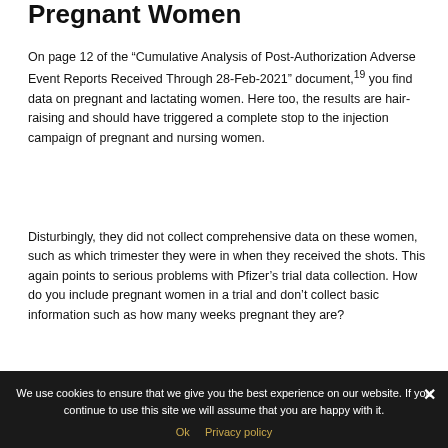Pregnant Women
On page 12 of the “Cumulative Analysis of Post-Authorization Adverse Event Reports Received Through 28-Feb-2021” document,¹⁹ you find data on pregnant and lactating women. Here too, the results are hair-raising and should have triggered a complete stop to the injection campaign of pregnant and nursing women.
Disturbingly, they did not collect comprehensive data on these women, such as which trimester they were in when they received the shots. This again points to serious problems with Pfizer’s trial data collection. How do you include pregnant women in a trial and don’t collect basic information such as how many weeks pregnant they are?
We use cookies to ensure that we give you the best experience on our website. If you continue to use this site we will assume that you are happy with it.
Ok  Privacy policy